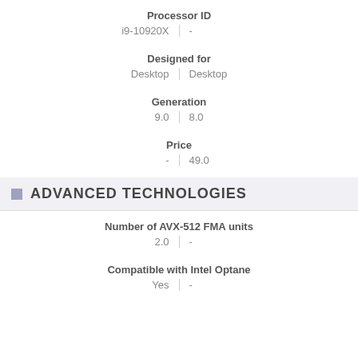Processor ID
| Col1 | Col2 |
| --- | --- |
| i9-10920X | - |
Designed for
| Col1 | Col2 |
| --- | --- |
| Desktop | Desktop |
Generation
| Col1 | Col2 |
| --- | --- |
| 9.0 | 8.0 |
Price
| Col1 | Col2 |
| --- | --- |
| - | 49.0 |
ADVANCED TECHNOLOGIES
Number of AVX-512 FMA units
| Col1 | Col2 |
| --- | --- |
| 2.0 | - |
Compatible with Intel Optane
| Col1 | Col2 |
| --- | --- |
| Yes | - |